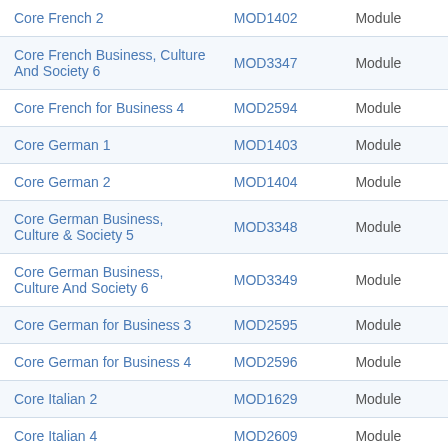| Core French 2 | MOD1402 | Module |
| Core French Business, Culture And Society 6 | MOD3347 | Module |
| Core French for Business 4 | MOD2594 | Module |
| Core German 1 | MOD1403 | Module |
| Core German 2 | MOD1404 | Module |
| Core German Business, Culture & Society 5 | MOD3348 | Module |
| Core German Business, Culture And Society 6 | MOD3349 | Module |
| Core German for Business 3 | MOD2595 | Module |
| Core German for Business 4 | MOD2596 | Module |
| Core Italian 2 | MOD1629 | Module |
| Core Italian 4 | MOD2609 | Module |